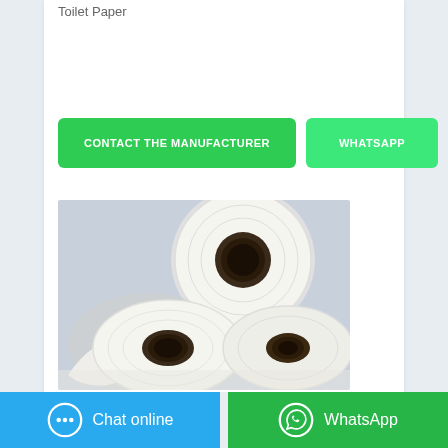Toilet Paper
CONTACT THE MANUFACTURER
WHATSAPP
[Figure (photo): Two rolls of white toilet paper/paper towel stacked and arranged against a light blue-grey background]
Chat online
WhatsApp